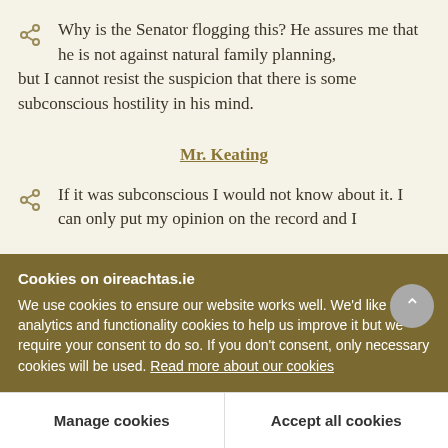Why is the Senator flogging this? He assures me that he is not against natural family planning, but I cannot resist the suspicion that there is some subconscious hostility in his mind.
Mr. Keating
If it was subconscious I would not know about it. I can only put my opinion on the record and I
Cookies on oireachtas.ie
We use cookies to ensure our website works well. We'd like to use analytics and functionality cookies to help us improve it but we require your consent to do so. If you don't consent, only necessary cookies will be used. Read more about our cookies
Manage cookies
Accept all cookies